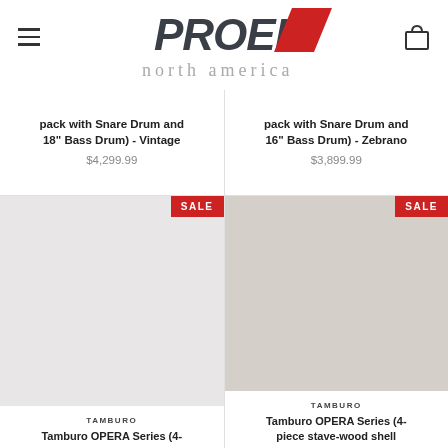[Figure (logo): Proel North America logo with hamburger menu icon on left and shopping bag icon on right]
pack with Snare Drum and 18" Bass Drum) - Vintage
$4,299.99
pack with Snare Drum and 16" Bass Drum) - Zebrano
$3,899.99
[Figure (photo): Product image placeholder - light gray background with SALE badge]
TAMBURO
Tamburo OPERA Series (4-
[Figure (photo): Product image placeholder - beige/tan background with SALE badge]
TAMBURO
Tamburo OPERA Series (4-piece stave-wood shell